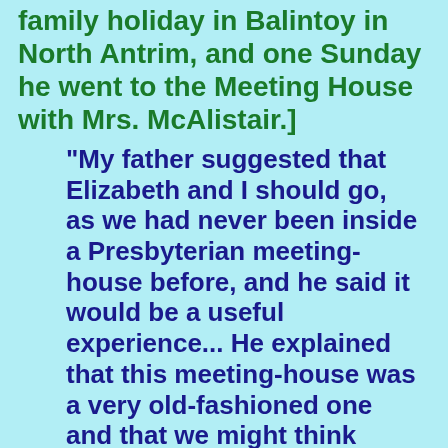family holiday in Balintoy in North Antrim, and one Sunday he went to the Meeting House with Mrs. McAlistair.]
"My father suggested that Elizabeth and I should go, as we had never been inside a Presbyterian meeting-house before, and he said it would be a useful experience... He explained that this meeting-house was a very old-fashioned one and that we might think some of the things done at the service in it rather peculiar and even ridiculous. But under no circumstances must we show any surprise or lack of solemnity. Presbyterianism was not a proper religion for a gentlemen, but it was quite a good religion for the lower classes who took it seriously, and we must be